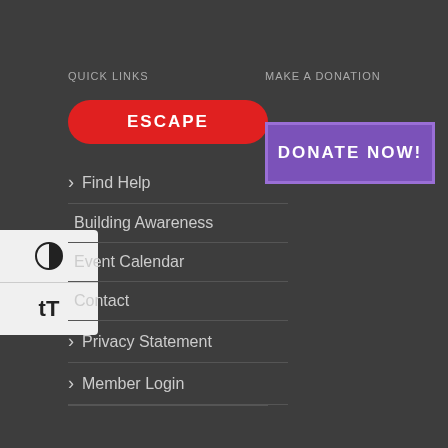QUICK LINKS
ESCAPE
> Find Help
Building Awareness
Event Calendar
Contact
> Privacy Statement
> Member Login
MAKE A DONATION
DONATE NOW!
[Figure (other): Accessibility widget with contrast toggle (half-circle icon) and text size (tT) button on light grey background]